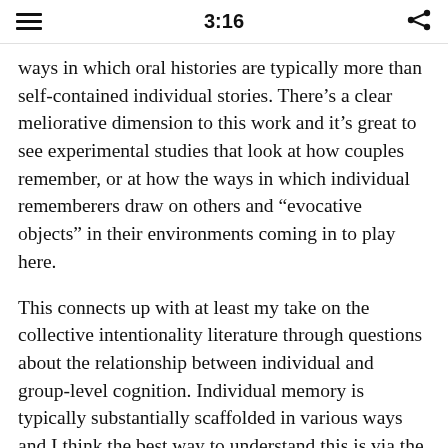3:16
ways in which oral histories are typically more than self-contained individual stories. There’s a clear meliorative dimension to this work and it’s great to see experimental studies that look at how couples remember, or at how the ways in which individual rememberers draw on others and “evocative objects” in their environments coming in to play here.
This connects up with at least my take on the collective intentionality literature through questions about the relationship between individual and group-level cognition. Individual memory is typically substantially scaffolded in various ways and I think the best way to understand this is via the idea of extended cognition. Introducing extended cognition here allows one to deepen an abstract challenge to proponents of group-level cognition: show me an example of genuine group-level cognition that can’t be adequately viewed in terms of extended individual-level cognition. The historically most influential examples of